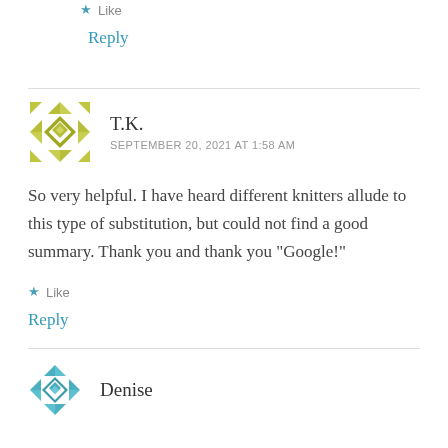Like
Reply
T.K.
SEPTEMBER 20, 2021 AT 1:58 AM
So very helpful. I have heard different knitters allude to this type of substitution, but could not find a good summary. Thank you and thank you “Google!”
Like
Reply
Denise